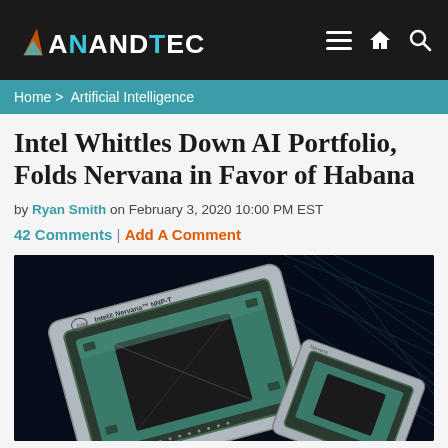AnandTech
Home > Artificial Intelligence
Intel Whittles Down AI Portfolio, Folds Nervana in Favor of Habana
by Ryan Smith on February 3, 2020 10:00 PM EST
42 Comments | Add A Comment
[Figure (photo): Intel Nervana NNP-T chip package photographed against a dark digital background]